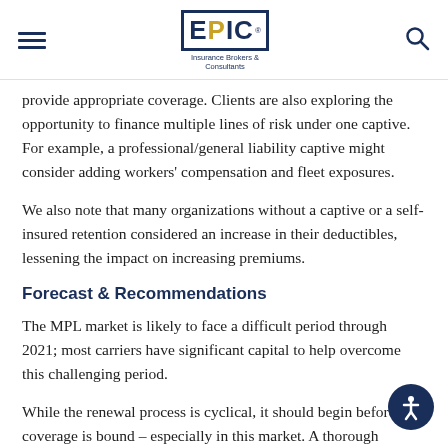EPIC Insurance Brokers & Consultants
provide appropriate coverage. Clients are also exploring the opportunity to finance multiple lines of risk under one captive. For example, a professional/general liability captive might consider adding workers' compensation and fleet exposures.
We also note that many organizations without a captive or a self-insured retention considered an increase in their deductibles, lessening the impact on increasing premiums.
Forecast & Recommendations
The MPL market is likely to face a difficult period through 2021; most carriers have significant capital to help overcome this challenging period.
While the renewal process is cyclical, it should begin before coverage is bound – especially in this market. A thorough